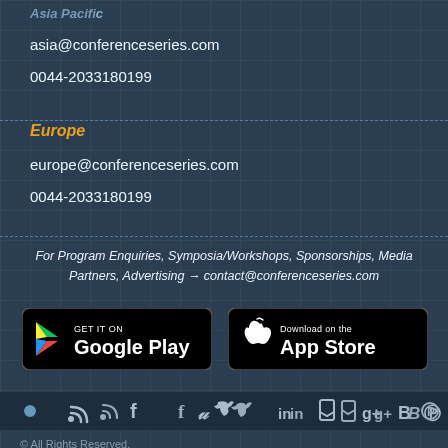Asia Pacific
asia@conferenceseries.com
0044-2033180199
Europe
europe@conferenceseries.com
0044-2033180199
For Program Enquiries, Symposia/Workshops, Sponsorships, Media Partners, Advertising → contact@conferenceseries.com
[Figure (logo): GET IT ON Google Play store button]
[Figure (logo): Download on the App Store button]
[Figure (other): Social media icons bar: circle, RSS, Facebook, Twitter, LinkedIn, bookmark, Google+, Blogger, Pinterest, Flickr]
© All Rights Reserved.